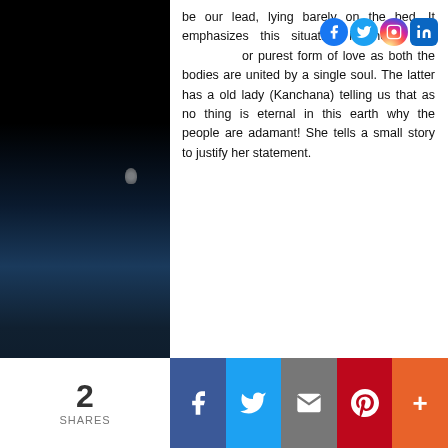be our lead, lying barely on the bed. It emphasizes this situation is the essence of purest form of love as both the bodies are united by a single soul. The latter has a old lady (Kanchana) telling us that as no thing is eternal in this earth why the people are adamant! She tells a small story to justify her statement.
[Figure (photo): Dark space/moon landscape background with a small astronaut figure on the left side and an astronaut in a spacesuit on the right side]
[Figure (infographic): Social media share bar at bottom: count of 2 SHARES, Facebook, Twitter, Email, Pinterest, and More buttons]